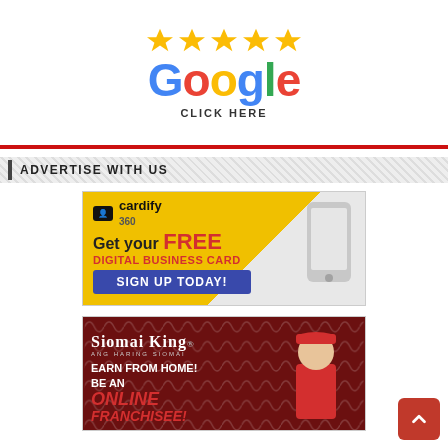[Figure (logo): Google five-star review logo with yellow stars above colorful Google text and CLICK HERE label]
ADVERTISE WITH US
[Figure (illustration): Cardify 360 advertisement banner: Get your FREE DIGITAL BUSINESS CARD - SIGN UP TODAY!]
[Figure (illustration): Siomai King advertisement: EARN FROM HOME! BE AN ONLINE FRANCHISEE!]